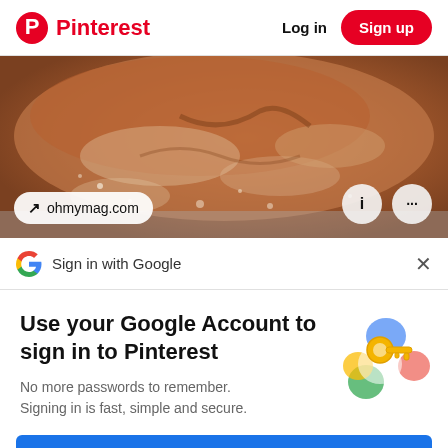Pinterest  Log in  Sign up
[Figure (photo): Close-up photo of bread or baked good with flour dusting, with source pill showing ohmymag.com and info/more buttons]
Sign in with Google
Use your Google Account to sign in to Pinterest
No more passwords to remember. Signing in is fast, simple and secure.
[Figure (illustration): Google key illustration with colorful circles and a gold key]
Continue